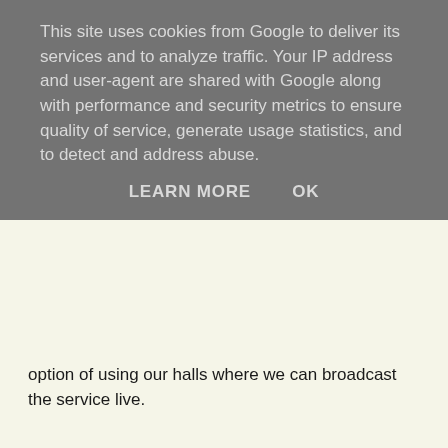This site uses cookies from Google to deliver its services and to analyze traffic. Your IP address and user-agent are shared with Google along with performance and security metrics to ensure quality of service, generate usage statistics, and to detect and address abuse.
LEARN MORE    OK
option of using our halls where we can broadcast the service live.
We will use sheets instead of hymn books and prayer books. So, plans are in place for keeping everyone safe while still being able to come together as a parish community. As guidelines recommend facemasks MUST be worn while congregating indoors.
When people are exiting, we envisage opening both doors at entrance of church and will encourage people to leave